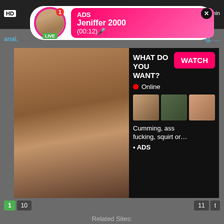[Figure (screenshot): Adult website screenshot showing popup ad with profile photo labeled LIVE, ADS banner reading Jeniffer 2000 (00:12), and a large ad overlay with WHAT DO YOU WANT? WATCH button, Online status, thumbnail images, and text Cumming, ass fucking, squirt or... ADS]
anal, ...  ig, ...
1  10  11  t
Related Sites:
Partying   Partying Index   Brutal   Brutal Index   Step Mom
Step Mom Index   Buttsex   Buttsex Index   Xvidieos   Xvidieos Index
Best Sex Video   Best Sex Video Index   Best Blowjobs
Best Blowjobs Index   Fetishkinky   Fetishkinky Index   Studs
Studs Index   ...